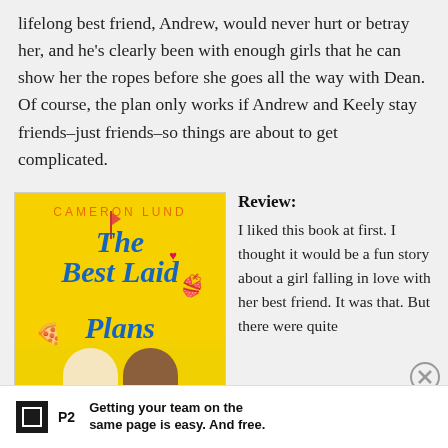lifelong best friend, Andrew, would never hurt or betray her, and he's clearly been with enough girls that he can show her the ropes before she goes all the way with Dean. Of course, the plan only works if Andrew and Keely stay friends–just friends–so things are about to get complicated.
[Figure (photo): Book cover of 'The Best Laid Plans' by Cameron Lund. Yellow background with blue italic title text, orange author name, cartoon characters of a blonde girl and brown-haired boy at the bottom, decorative icons of a heart, bikini top, and pizza slice.]
Advertisements
Review:
I liked this book at first. I thought it would be a fun story about a girl falling in love with her best friend. It was that. But there were quite
[Figure (logo): P2 advertisement logo with tagline: Getting your team on the same page is easy. And free.]